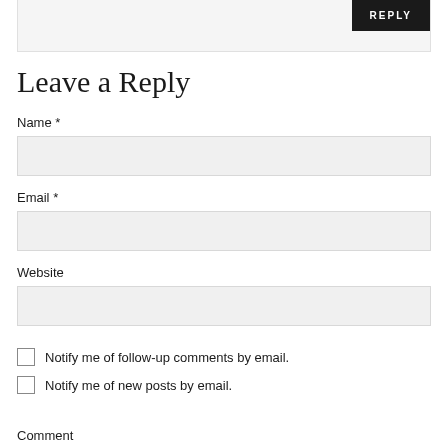REPLY
Leave a Reply
Name *
Email *
Website
Notify me of follow-up comments by email.
Notify me of new posts by email.
Comment